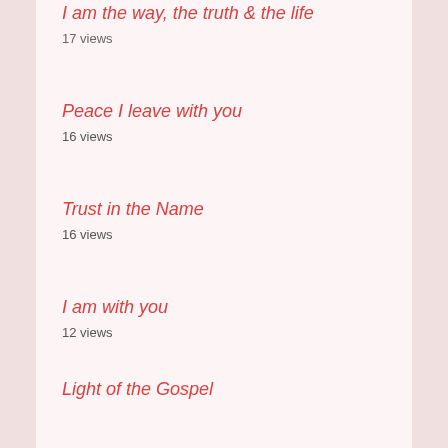I am the way, the truth & the life
17 views
Peace I leave with you
16 views
Trust in the Name
16 views
I am with you
12 views
Light of the Gospel
11 views
Ask and it will be given
11 views
No Eye has Seen